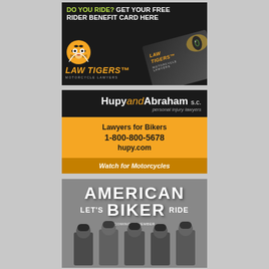[Figure (illustration): Law Tigers Motorcycle Lawyers advertisement. Dark background with text 'DO YOU RIDE? GET YOUR FREE RIDER BENEFIT CARD HERE', tiger logo, orange LAW TIGERS brand name, and a benefit card image.]
[Figure (illustration): Hupy and Abraham s.c. personal injury lawyers advertisement. Black header with brand name, orange section with 'Lawyers for Bikers 1-800-800-5678 hupy.com', darker footer with 'Watch for Motorcycles'.]
[Figure (illustration): American Biker advertisement. Gray background with large white text 'AMERICAN BIKER' and smaller text 'LET'S RIDE', group of people in motorcycle gear at the bottom.]